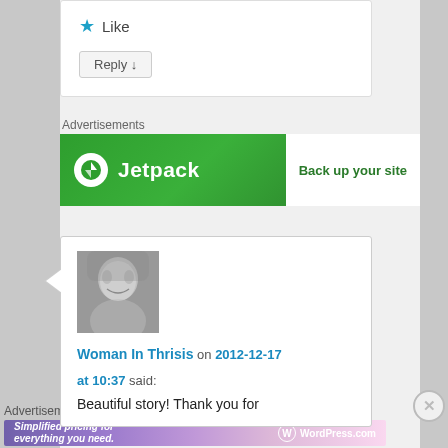[Figure (screenshot): Like star icon and Reply button in a comment card]
Advertisements
[Figure (screenshot): Jetpack advertisement banner with logo and 'Back up your site' CTA button]
[Figure (photo): Black and white photo of a woman with blonde hair smiling]
Woman In Thrisis on 2012-12-17 at 10:37 said:
Beautiful story! Thank you for
Advertisements
[Figure (screenshot): WordPress.com advertisement banner: Simplified pricing for everything you need.]